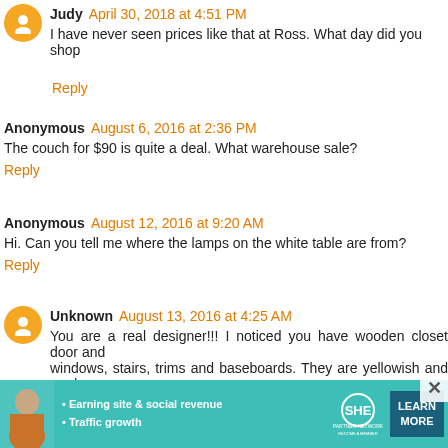Judy  April 30, 2018 at 4:51 PM
I have never seen prices like that at Ross. What day did you shop
Reply
Anonymous  August 6, 2016 at 2:36 PM
The couch for $90 is quite a deal. What warehouse sale?
Reply
Anonymous  August 12, 2016 at 9:20 AM
Hi. Can you tell me where the lamps on the white table are from?
Reply
Unknown  August 13, 2016 at 4:25 AM
You are a real designer!!! I noticed you have wooden closet door and windows, stairs, trims and baseboards. They are yellowish and mad will cost a fortune to paint all. I still like some wooden colour in
[Figure (infographic): SHE partner network advertisement banner with photo of woman, bullet points about earning site & social revenue and traffic growth, SHE logo, and Learn More button]